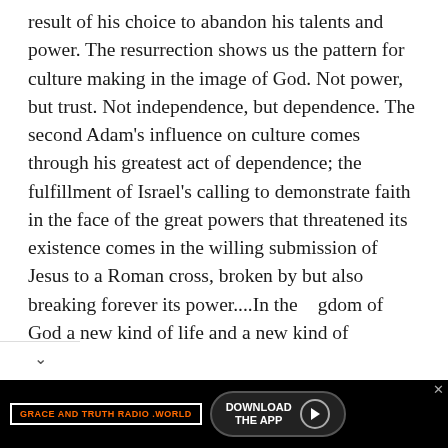result of his choice to abandon his talents and power. The resurrection shows us the pattern for culture making in the image of God. Not power, but trust. Not independence, but dependence. The second Adam's influence on culture comes through his greatest act of dependence; the fulfillment of Israel's calling to demonstrate faith in the face of the great powers that threatened its existence comes in the willing submission of Jesus to a Roman cross, broken by but also breaking forever its power....In the kingdom of God a new kind of life and a new kind of
[Figure (infographic): Advertisement banner for Grace and Truth Radio .world with 'Download the App' button and a close (X) button]